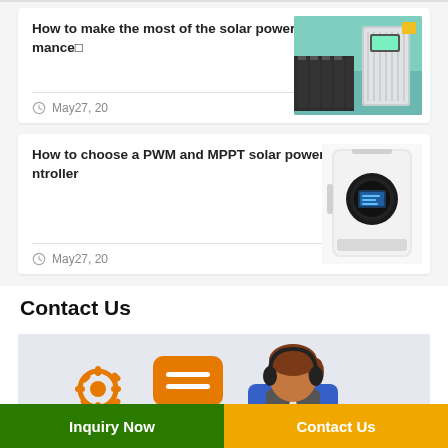How to make the most of the solar power inverter performance
May27, 20
[Figure (photo): Photo of solar power inverter and battery bank setup in a room with teal walls]
How to choose a PWM and MPPT solar power charge controller
May27, 20
[Figure (photo): Photo of a white wall-mounted solar charge controller device]
Contact Us
[Figure (illustration): Illustration of a customer service representative with headset, gear icon, speech bubble, and telephone icons]
Inquiry Now
Contact Us